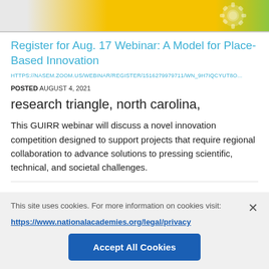[Figure (illustration): Top banner image with yellow and green gradient colors and gear icon]
Register for Aug. 17 Webinar: A Model for Place-Based Innovation
HTTPS://NASEM.ZOOM.US/WEBINAR/REGISTER/1516279979711/WN_9H7IQCYUT8O...
POSTED AUGUST 4, 2021
research triangle, north carolina,
This GUIRR webinar will discuss a novel innovation competition designed to support projects that require regional collaboration to advance solutions to pressing scientific, technical, and societal challenges.
This site uses cookies. For more information on cookies visit: https://www.nationalacademies.org/legal/privacy
Accept All Cookies